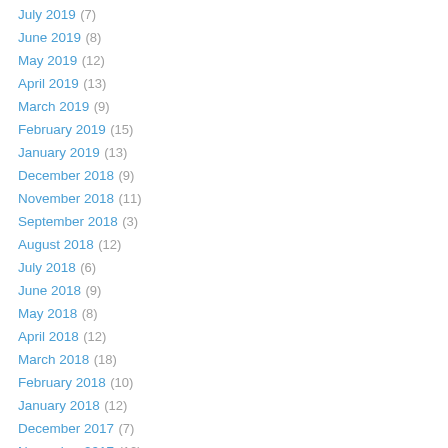July 2019 (7)
June 2019 (8)
May 2019 (12)
April 2019 (13)
March 2019 (9)
February 2019 (15)
January 2019 (13)
December 2018 (9)
November 2018 (11)
September 2018 (3)
August 2018 (12)
July 2018 (6)
June 2018 (9)
May 2018 (8)
April 2018 (12)
March 2018 (18)
February 2018 (10)
January 2018 (12)
December 2017 (7)
November 2017 (10)